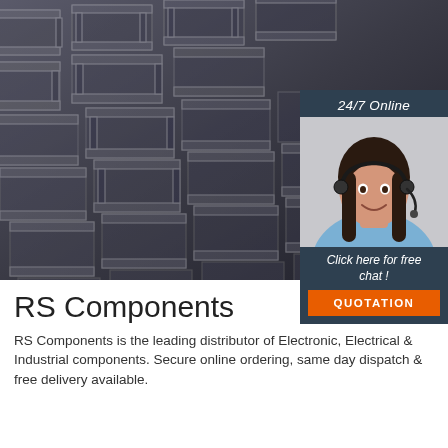[Figure (photo): Close-up photo of stacked steel I-beams or structural steel sections arranged in a grid pattern, dark metallic tones]
[Figure (infographic): Chat widget overlay with '24/7 Online' header, photo of smiling female customer service agent with headset, 'Click here for free chat!' text in italic white, and orange QUOTATION button]
RS Components
[Figure (other): Orange TOP badge with dot-pattern triangle above the word TOP]
RS Components is the leading distributor of Electronic, Electrical & Industrial components. Secure online ordering, same day dispatch & free delivery available.